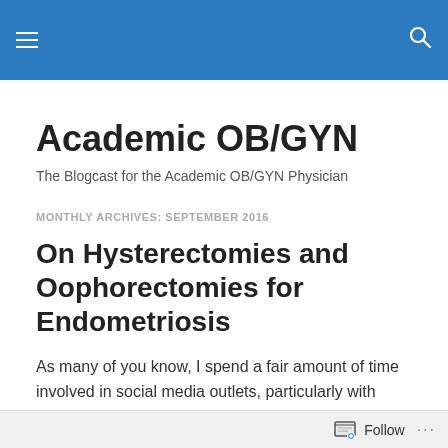Academic OB/GYN — navigation header bar with hamburger menu and search icon
Academic OB/GYN
The Blogcast for the Academic OB/GYN Physician
MONTHLY ARCHIVES: SEPTEMBER 2016
On Hysterectomies and Oophorectomies for Endometriosis
As many of you know, I spend a fair amount of time involved in social media outlets, particularly with efforts to
Follow ...